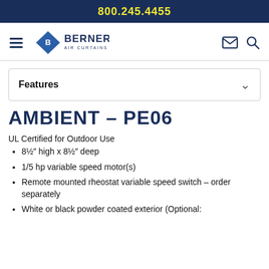800.245.4455
[Figure (logo): Berner Air Curtains logo with diamond shape and navigation icons]
Features
AMBIENT - PE06
UL Certified for Outdoor Use
8½" high x 8½" deep
1/5 hp variable speed motor(s)
Remote mounted rheostat variable speed switch – order separately
White or black powder coated exterior (Optional: